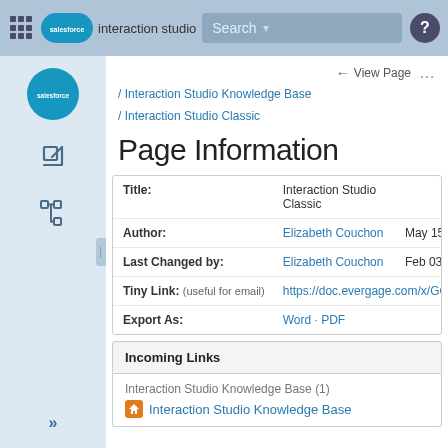interaction studio  Search
/ Interaction Studio Knowledge Base / Interaction Studio Classic
Page Information
| Field | Value | Date |
| --- | --- | --- |
| Title: | Interaction Studio Classic |  |
| Author: | Elizabeth Couchon | May 15, 2 |
| Last Changed by: | Elizabeth Couchon | Feb 03, 2 |
| Tiny Link: (useful for email) | https://doc.evergage.com/x/GQkv |  |
| Export As: | Word · PDF |  |
Incoming Links
Interaction Studio Knowledge Base (1)
Interaction Studio Knowledge Base